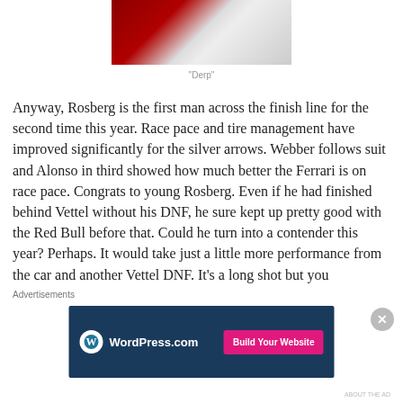[Figure (photo): Partial photo showing a person in red and white colors, cropped at top]
“Derp”
Anyway, Rosberg is the first man across the finish line for the second time this year. Race pace and tire management have improved significantly for the silver arrows. Webber follows suit and Alonso in third showed how much better the Ferrari is on race pace. Congrats to young Rosberg. Even if he had finished behind Vettel without his DNF, he sure kept up pretty good with the Red Bull before that. Could he turn into a contender this year? Perhaps. It would take just a little more performance from the car and another Vettel DNF. It’s a long shot but you
Advertisements
[Figure (other): WordPress.com advertisement banner with Build Your Website button]
ABOUT THE AD